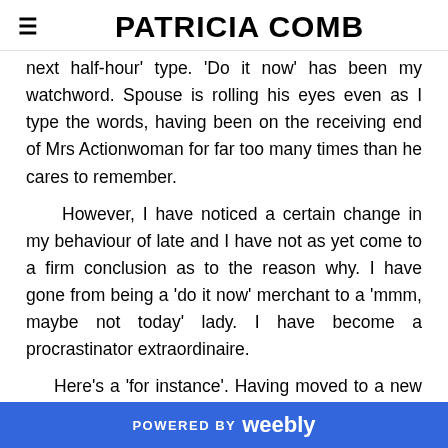PATRICIA COMB
next half-hour' type. 'Do it now' has been my watchword. Spouse is rolling his eyes even as I type the words, having been on the receiving end of Mrs Actionwoman for far too many times than he cares to remember.
However, I have noticed a certain change in my behaviour of late and I have not as yet come to a firm conclusion as to the reason why. I have gone from being a 'do it now' merchant to a 'mmm, maybe not today' lady. I have become a procrastinator extraordinaire.
Here's a 'for instance'. Having moved to a new home recently I have a 'to do' list, which incorporates a 'to
POWERED BY weebly